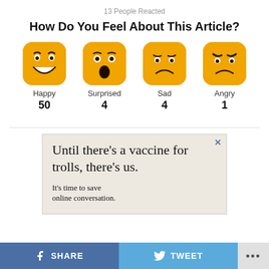13 People Reacted
How Do You Feel About This Article?
[Figure (infographic): Four emoji reaction icons (Happy, Surprised, Sad, Angry) with counts below each: Happy 50, Surprised 4, Sad 4, Angry 1]
[Figure (infographic): Advertisement box with text: Until there's a vaccine for trolls, there's us. It's time to save online conversation.]
SHARE   TWEET   ...